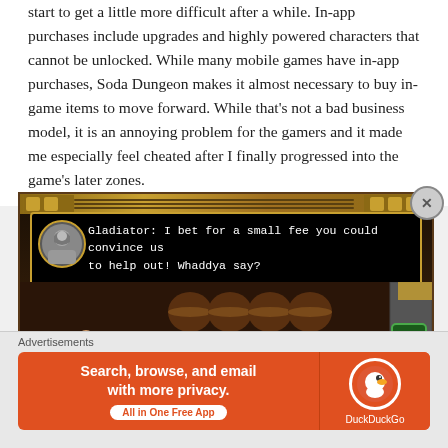start to get a little more difficult after a while.  In-app purchases include upgrades and highly powered characters that cannot be unlocked.  While many mobile games have in-app purchases, Soda Dungeon makes it almost necessary to buy in-game items to move forward.  While that's not a bad business model, it is an annoying problem for the gamers and it made me especially feel cheated after I finally progressed into the game's later zones.
[Figure (screenshot): Screenshot from Soda Dungeon mobile game showing a tavern scene with a dialog box. The gladiator character says: 'Gladiator: I bet for a small fee you could convince us to help out! Whaddya say?' Various pixelated characters are visible in the tavern background.]
Advertisements
[Figure (infographic): DuckDuckGo advertisement banner with orange background. Text reads: 'Search, browse, and email with more privacy. All in One Free App' with DuckDuckGo logo on the right.]